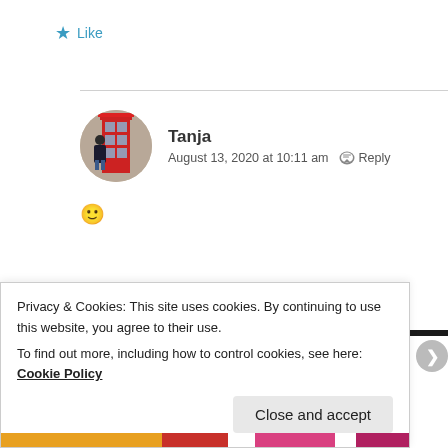★ Like
Tanja
August 13, 2020 at 10:11 am  Reply
🙂
★ Like
Privacy & Cookies: This site uses cookies. By continuing to use this website, you agree to their use.
To find out more, including how to control cookies, see here: Cookie Policy
Close and accept